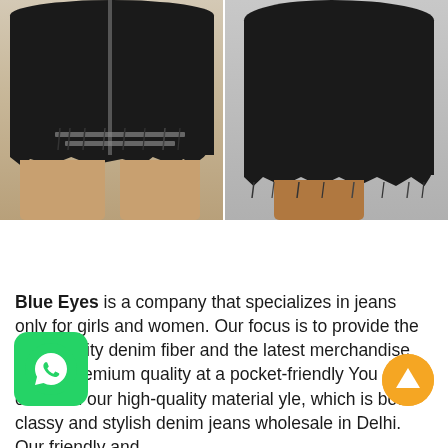[Figure (photo): Two side-by-side product photos of a black distressed denim mini skirt. Left photo shows the front view with a zipper detail and frayed/torn hem, worn by a woman. Right photo shows the back view of the same black denim mini skirt with a frayed hem.]
Blue Eyes is a company that specializes in jeans only for girls and women. Our focus is to provide the best quality denim fiber and the latest merchandise tion of premium quality at a pocket-friendly You can count on our high-quality material yle, which is both classy and stylish denim jeans wholesale in Delhi. Our friendly and